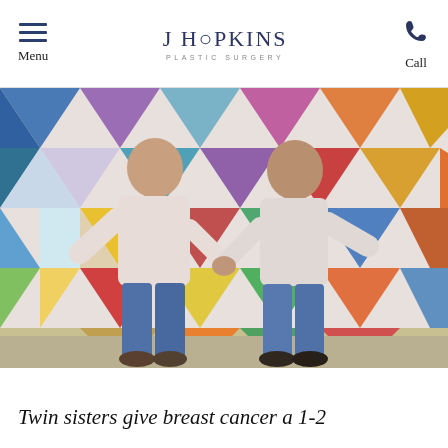Menu | J HOPKINS PLASTIC SURGERY | Call
[Figure (photo): Two women (twin sisters) standing side by side holding hands in front of a colorful geometric mural wall with shapes in teal, purple, orange, yellow, green, blue and red. Both wear white/light pink tops and blue jeans.]
Twin sisters give breast cancer a 1-2